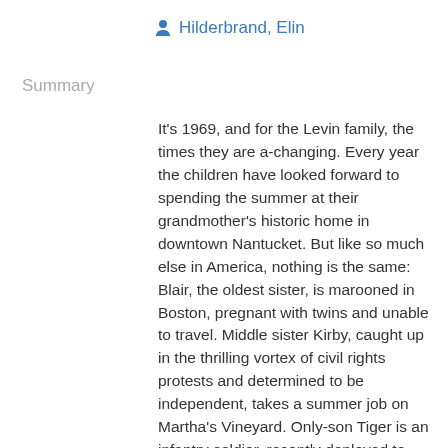Hilderbrand, Elin
Summary
It's 1969, and for the Levin family, the times they are a-changing. Every year the children have looked forward to spending the summer at their grandmother's historic home in downtown Nantucket. But like so much else in America, nothing is the same: Blair, the oldest sister, is marooned in Boston, pregnant with twins and unable to travel. Middle sister Kirby, caught up in the thrilling vortex of civil rights protests and determined to be independent, takes a summer job on Martha's Vineyard. Only-son Tiger is an infantry soldier, recently deployed to Vietnam. Thirteen-year-old Jessie suddenly feels like an only child, marooned in the house with her out-of-touch grandmother and her worried